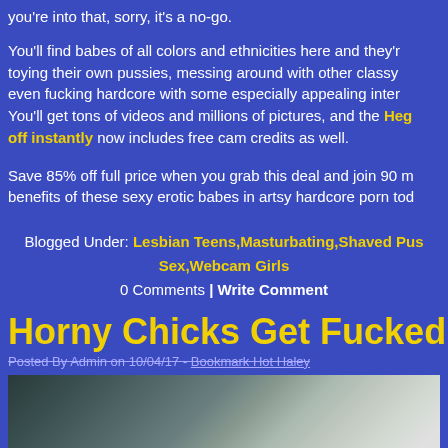you're into that, sorry, it's a no-go.
You'll find babes of all colors and ethnicities here and they're toying their own pussies, messing around with other classy, even fucking hardcore with some especially appealing inter. You'll get tons of videos and millions of pictures, and the Heg off instantly now includes free cam credits as well.
Save 85% off full price when you grab this deal and join 90 m benefits of these sexy erotic babes in artsy hardcore porn tod
Blogged Under: Lesbian Teens, Masturbating, Shaved Pus Sex, Webcam Girls
0 Comments | Write Comment
Horny Chicks Get Fucked in Reality Pe
Posted By Admin on 10/04/17 - Bookmark Hot Haley
[Figure (photo): Photo of people in a car interior, blurry scene]